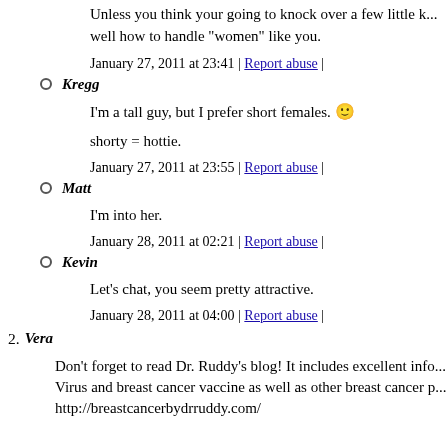Unless you think your going to knock over a few little k... well how to handle "women" like you.
January 27, 2011 at 23:41 | Report abuse |
Kregg
I'm a tall guy, but I prefer short females. 🙂
shorty = hottie.
January 27, 2011 at 23:55 | Report abuse |
Matt
I'm into her.
January 28, 2011 at 02:21 | Report abuse |
Kevin
Let's chat, you seem pretty attractive.
January 28, 2011 at 04:00 | Report abuse |
2. Vera
Don't forget to read Dr. Ruddy's blog! It includes excellent info... Virus and breast cancer vaccine as well as other breast cancer p... http://breastcancerbydrruddy.com/